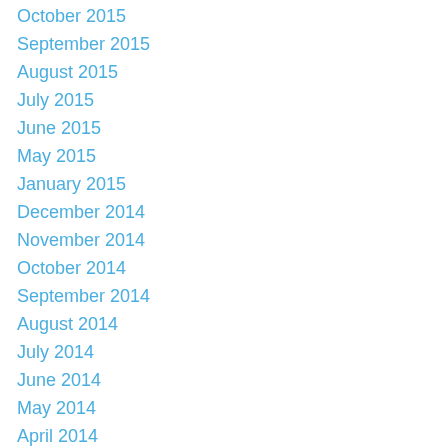October 2015
September 2015
August 2015
July 2015
June 2015
May 2015
January 2015
December 2014
November 2014
October 2014
September 2014
August 2014
July 2014
June 2014
May 2014
April 2014
March 2014
February 2014
January 2014
December 2013